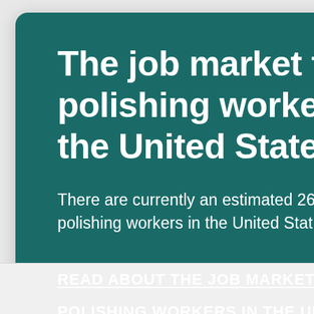The job market for hand polishing workers in the United States
There are currently an estimated 26,600 hand polishing workers in the United Stat…
READ ABOUT THE JOB MARKET FOR HAND POLISHING WORKERS IN THE UNITED STATES
[Figure (illustration): Abstract decorative illustration with colorful shapes (coral/red, yellow/orange, cream/beige) on a dark navy background, positioned on the right side of the card]